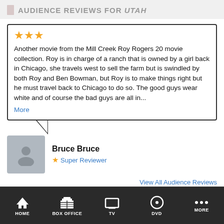AUDIENCE REVIEWS FOR UTAH
★★★
Another movie from the Mill Creek Roy Rogers 20 movie collection. Roy is in charge of a ranch that is owned by a girl back in Chicago, she travels west to sell the farm but is swindled by both Roy and Ben Bowman, but Roy is to make things right but he must travel back to Chicago to do so. The good guys wear white and of course the bad guys are all in...
More
Bruce Bruce
★ Super Reviewer
View All Audience Reviews
UTAH QUOTES
HOME  BOX OFFICE  TV  DVD  MORE